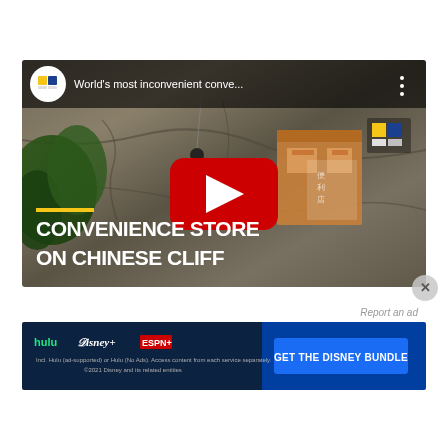[Figure (screenshot): YouTube video thumbnail showing aerial view of a convenience store on a Chinese cliff face. Title overlay reads 'CONVENIENCE STORE ON CHINESE CLIFF'. YouTube logo and video title 'World's most inconvenient conve...' visible in top bar. Red play button centered.]
Report an ad
[Figure (infographic): Disney Bundle advertisement banner showing Hulu, Disney+, and ESPN+ logos on dark blue background with 'GET THE DISNEY BUNDLE' call-to-action button. Fine print: 'Incl. Hulu (ad-supported) or Hulu (No Ads). Access content from each service separately. ©2021 Disney and its related entities']